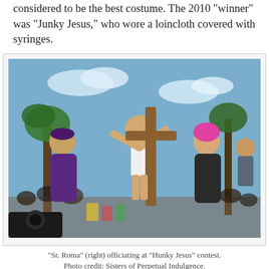considered to be the best costume. The 2010 “winner” was “Junky Jesus,” who wore a loincloth covered with syringes.
[Figure (photo): Outdoor scene showing people in costumes including someone carrying a cross wearing a white loincloth with one arm raised, a person in purple robes, and a person in black robes with pink hair, with a crowd and palm trees in background.]
“Sr. Roma” (right) officiating at “Hunky Jesus” contest.
Photo credit: Sisters of Perpetual Indulgence.
The relationship between the Sisters of Perpetual Indulgence and Most Holy Redeemer goes back many years:
“When I spoke with Sr. (Cleta Harold) about entering RCIA, I was clearly not about to compromise anything regarding my sexuality. I didn’t go into a lot of details, but I showed up in